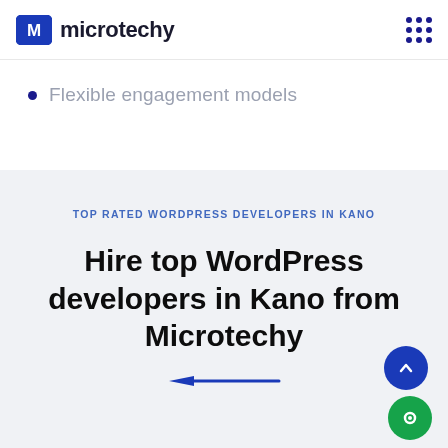microtechy
Flexible engagement models
TOP RATED WORDPRESS DEVELOPERS IN KANO
Hire top WordPress developers in Kano from Microtechy